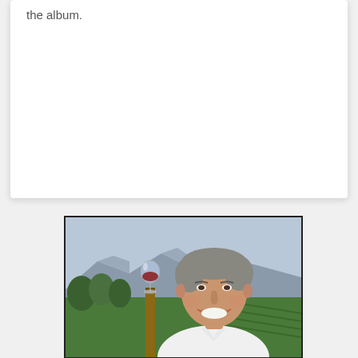the album.
[Figure (photo): A smiling middle-aged man in a white shirt standing outdoors in a vineyard setting with mountains in the background and a wine glass on a post to his left.]